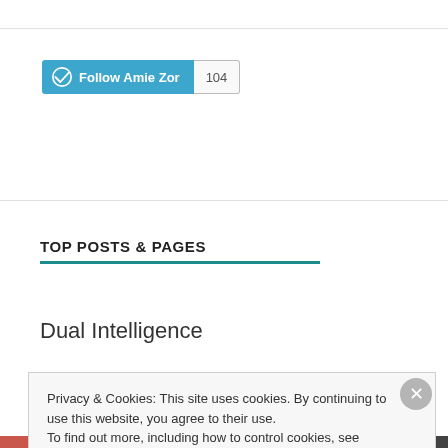[Figure (other): WordPress Follow button for 'Amie Zor' in teal/blue with follower count badge showing 104]
TOP POSTS & PAGES
Dual Intelligence
"Je suis Tu"
Privacy & Cookies: This site uses cookies. By continuing to use this website, you agree to their use.
To find out more, including how to control cookies, see here: Cookie Policy
Close and accept